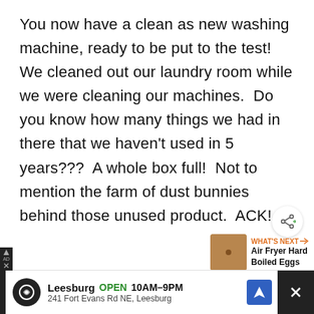You now have a clean as new washing machine, ready to be put to the test!  We cleaned out our laundry room while we were cleaning our machines.  Do you know how many things we had in there that we haven't used in 5 years???  A whole box full!  Not to mention the farm of dust bunnies behind those unused product.  ACK!
[Figure (other): Share button (circular white button with share icon)]
[Figure (other): What's Next promotional box with thumbnail image of Air Fryer Hard Boiled Eggs]
Maintaining your washer and
[Figure (other): Advertisement bar: Leesburg store OPEN 10AM-9PM, 241 Fort Evans Rd NE, Leesburg with navigation and close buttons]